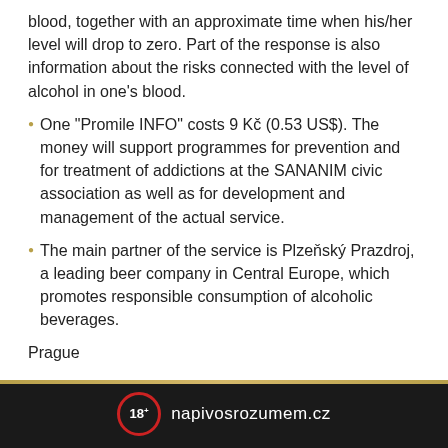blood, together with an approximate time when his/her level will drop to zero. Part of the response is also information about the risks connected with the level of alcohol in one’s blood.
One “Promile INFO” costs 9 Kč (0.53 US$). The money will support programmes for prevention and for treatment of addictions at the SANANIM civic association as well as for development and management of the actual service.
The main partner of the service is Plzeňský Prazdroj, a leading beer company in Central Europe, which promotes responsible consumption of alcoholic beverages.
Prague
18+ napivosrozumem.cz